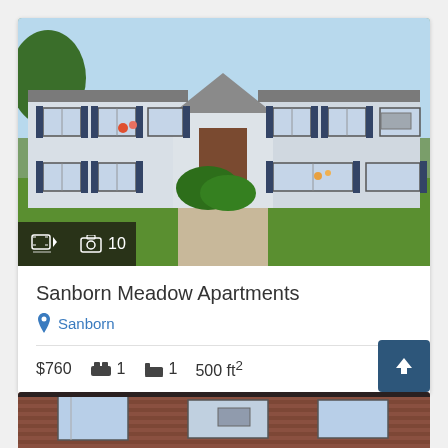[Figure (photo): Exterior photo of Sanborn Meadow Apartments — a two-story white/grey vinyl-sided apartment building with dark shutters, a central entrance with gabled roof, green lawn and shrubs in front, sunny day.]
Sanborn Meadow Apartments
Sanborn
$760   1 bed   1 bath   500 ft²
[Figure (photo): Partial exterior photo of a second apartment building — red brick with windows and AC units visible.]